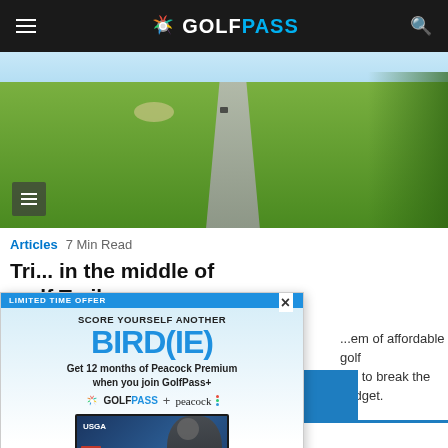GOLFPASS
[Figure (photo): Aerial view of a golf course fairway with a cart path winding through green grass and trees in background]
Articles  7 Min Read
Tri...in the middle of ...olf Trail
...em of affordable golf ...e to break the budget.
[Figure (screenshot): GolfPass advertisement overlay with LIMITED TIME OFFER banner, SCORE YOURSELF ANOTHER BIRD(IE) headline, Get 12 months of Peacock Premium when you join GolfPass+, GolfPass + Peacock logos, TV screen showing USGA content, JOIN NOW orange button, and terms text]